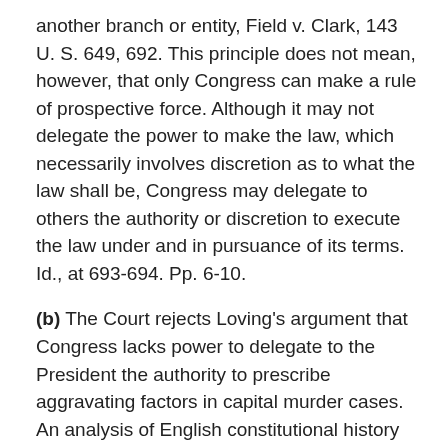another branch or entity, Field v. Clark, 143 U. S. 649, 692. This principle does not mean, however, that only Congress can make a rule of prospective force. Although it may not delegate the power to make the law, which necessarily involves discretion as to what the law shall be, Congress may delegate to others the authority or discretion to execute the law under and in pursuance of its terms. Id., at 693-694. Pp. 6-10.
(b) The Court rejects Loving's argument that Congress lacks power to delegate to the President the authority to prescribe aggravating factors in capital murder cases. An analysis of English constitutional history and of the historical necessities and events that instructed the Framers demonstrates that U. S. Const., Art. I, Section(s) 8, cl. 14- which empowers Congress "[t]o make Rules for the Government and Regulation of the land and naval forces"- does not grant an exclusive, nondelegable power to